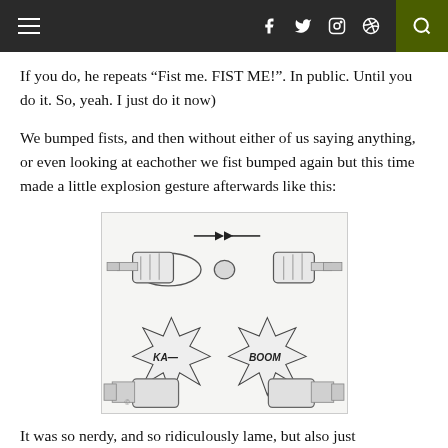navigation bar with hamburger menu, social icons, and search
If you do, he repeats “Fist me. FIST ME!”. In public. Until you do it. So, yeah. I just do it now)
We bumped fists, and then without either of us saying anything, or even looking at eachother we fist bumped again but this time made a little explosion gesture afterwards like this:
[Figure (illustration): Hand-drawn illustration of two fists bumping together with arrows pointing inward, then exploding apart with comic-style starburst effects and the text KA-- and BOOM]
It was so nerdy, and so ridiculously lame, but also just spontaneous and silly and fun, and I couldn’t stop laughing and in between the laughter, I realized: I have my husband back!